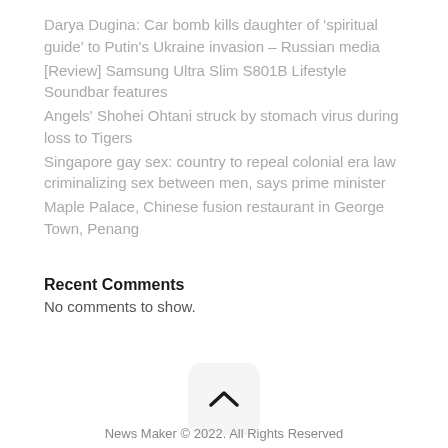Darya Dugina: Car bomb kills daughter of 'spiritual guide' to Putin's Ukraine invasion – Russian media
[Review] Samsung Ultra Slim S801B Lifestyle Soundbar features
Angels' Shohei Ohtani struck by stomach virus during loss to Tigers
Singapore gay sex: country to repeal colonial era law criminalizing sex between men, says prime minister
Maple Palace, Chinese fusion restaurant in George Town, Penang
Recent Comments
No comments to show.
[Figure (other): Back to top button: a rounded square button with a chevron/up-arrow symbol]
News Maker © 2022. All Rights Reserved